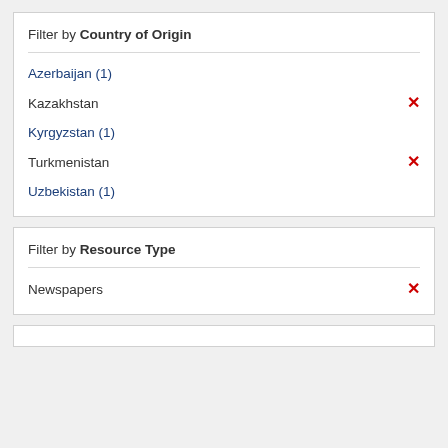Filter by Country of Origin
Azerbaijan (1)
Kazakhstan ✕
Kyrgyzstan (1)
Turkmenistan ✕
Uzbekistan (1)
Filter by Resource Type
Newspapers ✕